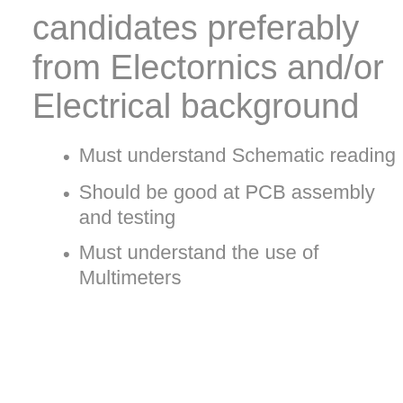candidates preferably from Electornics and/or Electrical background
Must understand Schematic reading
Should be good at PCB assembly and testing
Must understand the use of Multimeters